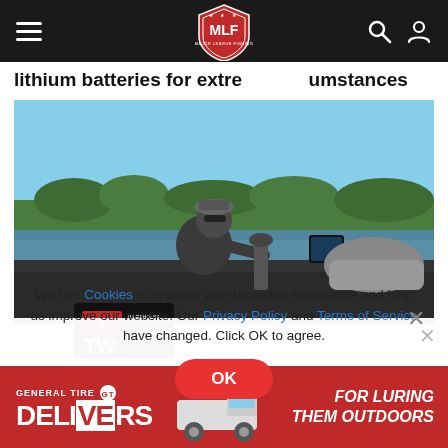MLF Major League Fishing navigation bar
lithium batteries for extreme circumstances
[Figure (photo): Man in cap and sunglasses on a bass fishing boat on a lake, surrounded by fishing equipment and electronics]
[Figure (screenshot): Partial Tire Warehouse advertisement popup in lower portion of image]
We use Cookies to improve your browsing experience and help us improve our website. Our Privacy Policy and Terms of Service have changed. Click OK to agree.
[Figure (infographic): General Tire Delivers advertisement banner at bottom: 'FOR LURING THEM OUTDOORS']